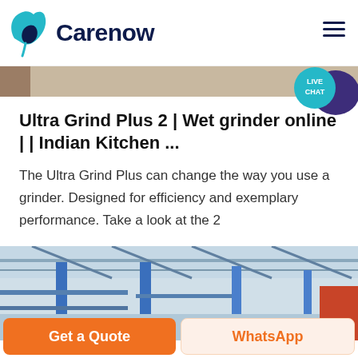Carenow
Ultra Grind Plus 2 | Wet grinder online | | Indian Kitchen ...
The Ultra Grind Plus can change the way you use a grinder. Designed for efficiency and exemplary performance. Take a look at the 2
[Figure (photo): Interior of an industrial or warehouse building showing blue steel structural columns and roof trusses]
[Figure (infographic): Live Chat button bubble in teal color with a dark purple speech bubble, positioned at top right corner]
Get a Quote
WhatsApp